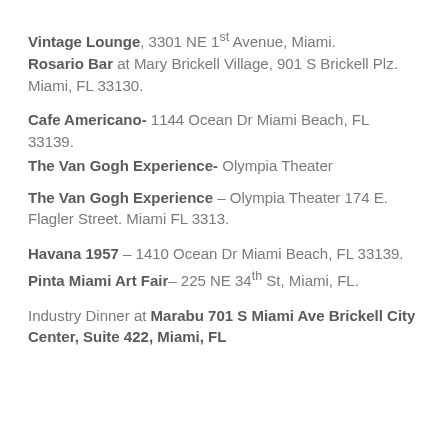Vintage Lounge, 3301 NE 1st Avenue, Miami. Rosario Bar at Mary Brickell Village, 901 S Brickell Plz. Miami, FL 33130.
Cafe Americano- 1144 Ocean Dr Miami Beach, FL 33139.
The Van Gogh Experience- Olympia Theater
The Van Gogh Experience – Olympia Theater 174 E. Flagler Street. Miami FL 3313.
Havana 1957 – 1410 Ocean Dr Miami Beach, FL 33139.
Pinta Miami Art Fair– 225 NE 34th St, Miami, FL.
Industry Dinner at Marabu 701 S Miami Ave Brickell City Center, Suite 422, Miami, FL